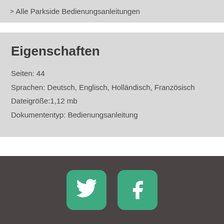> Alle Parkside Bedienungsanleitungen
Eigenschaften
Seiten: 44
Sprachen: Deutsch, Englisch, Holländisch, Französisch
Dateigröße:1,12 mb
Dokumententyp: Bedienungsanleitung
[Figure (other): Twitter and Facebook social media icon buttons (rounded green squares with white bird and f icons)]